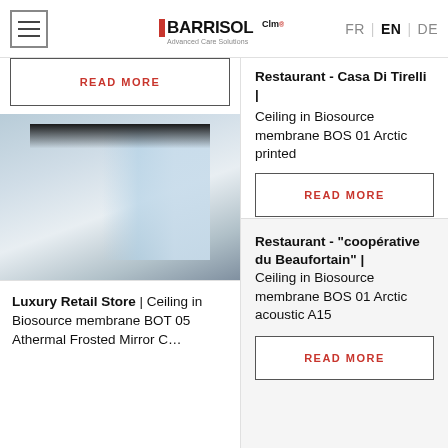BARRISOL Clm Advanced Care Solutions | FR EN DE
READ MORE
[Figure (photo): Interior architectural photo showing a bright space with shelving and glass ceiling elements]
Restaurant - Casa Di Tirelli | Ceiling in Biosource membrane BOS 01 Arctic printed
READ MORE
Luxury Retail Store | Ceiling in Biosource membrane BOT 05 ...
Restaurant - "coopérative du Beaufortain" | Ceiling in Biosource membrane BOS 01 Arctic acoustic A15
READ MORE